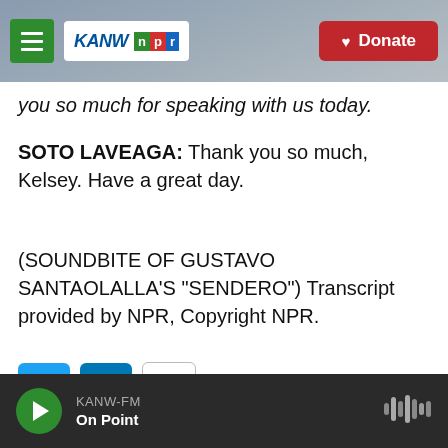KANW NPR — Donate
you so much for speaking with us today.
SOTO LAVEAGA: Thank you so much, Kelsey. Have a great day.
(SOUNDBITE OF GUSTAVO SANTAOLALLA'S "SENDERO") Transcript provided by NPR, Copyright NPR.
[Figure (other): Social share icons: Twitter (blue), LinkedIn (blue), Email (white with envelope)]
KANW-FM / On Point — player bar with play button and waveform